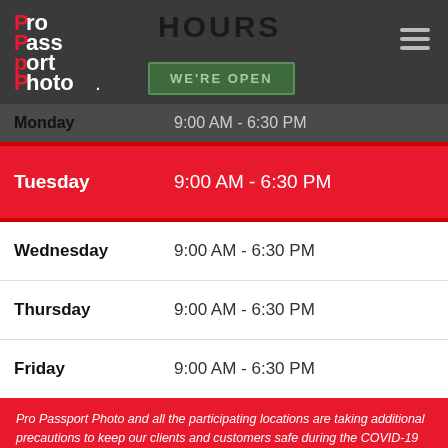[Figure (logo): Pro Passport Photo logo with red P letters and white text]
HOURS
WE'RE OPEN
| Day | Hours |
| --- | --- |
| Monday | 9:00 AM - 6:30 PM |
| Tuesday | 9:00 AM - 6:30 PM |
| Wednesday | 9:00 AM - 6:30 PM |
| Thursday | 9:00 AM - 6:30 PM |
| Friday | 9:00 AM - 6:30 PM |
Pro Passport Photo and all the participating locations are taking additional precautions to keep our clients and customers safe during the COVID-19 outbreak.
READ MORE